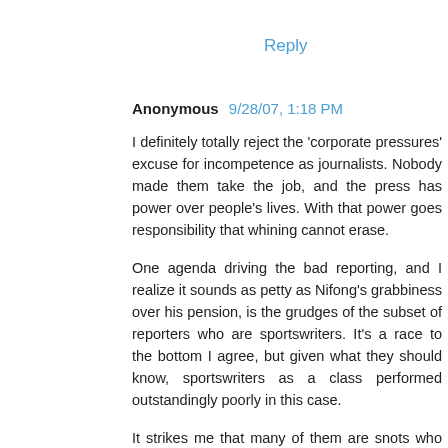Reply
Anonymous 9/28/07, 1:18 PM
I definitely totally reject the 'corporate pressures' excuse for incompetence as journalists. Nobody made them take the job, and the press has power over people's lives. With that power goes responsibility that whining cannot erase.
One agenda driving the bad reporting, and I realize it sounds as petty as Nifong's grabbiness over his pension, is the grudges of the subset of reporters who are sportswriters. It's a race to the bottom I agree, but given what they should know, sportswriters as a class performed outstandingly poorly in this case.
It strikes me that many of them are snots who think they are better than the athletes that they cover. This case may have fed their ideologies - and it did for some reporters - but it also fed their egos and gave them an opening for payback. Must be tough, with your big degree in English from a first or second tier Ivy, to see people fawn over someone you think is beneath you. Some of them may